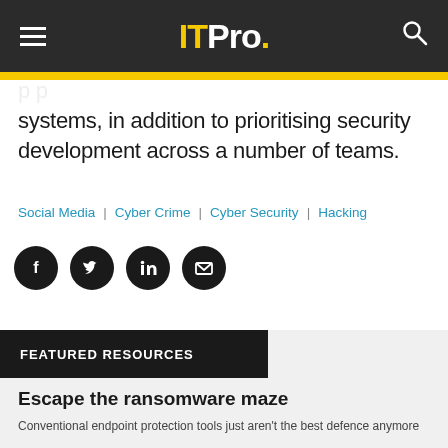ITPro.
systems, in addition to prioritising security development across a number of teams.
Social Media | Cyber Crime | Cyber Security | Hacking
[Figure (infographic): Social media share icons: Facebook, Twitter, LinkedIn, Email]
FEATURED RESOURCES
Escape the ransomware maze
Conventional endpoint protection tools just aren't the best defence anymore
[Figure (photo): Dark maze image with WatchGuard logo in top right corner]